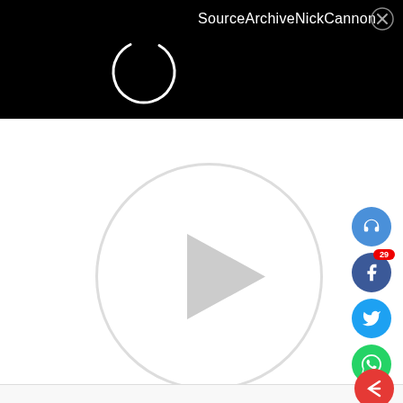[Figure (screenshot): Screenshot of a media website showing a video player page for 'SourceArchiveNickCannon'. The top section is a black header bar with a loading spinner (circle) on the left and the title 'SourceArchiveNickCannon' with a close X button on the right. Below is a white content area with a large circular video player (gray circle outline with a play button triangle in the center). On the right side is a vertical social sharing sidebar with icons: headphones (blue), Facebook (blue, badge '29'), Twitter (blue), WhatsApp (green), laughing emoji with '100%' badge (red), and a red round comment button. At the bottom is a light gray bar with a partially visible red share button.]